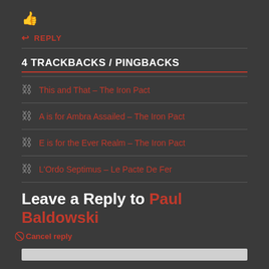[Figure (other): Thumbs up icon in red/orange]
↩ REPLY
4 TRACKBACKS / PINGBACKS
This and That – The Iron Pact
A is for Ambra Assailed – The Iron Pact
E is for the Ever Realm – The Iron Pact
L'Ordo Septimus – Le Pacte De Fer
Leave a Reply to Paul Baldowski
⊘ Cancel reply